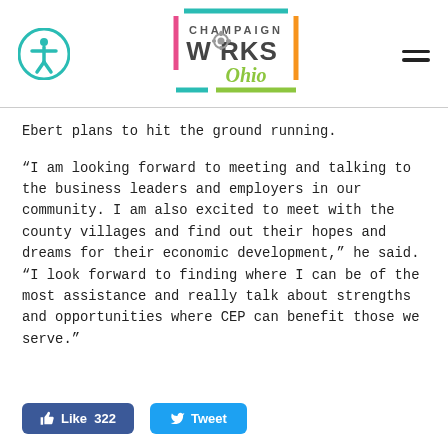[Figure (logo): Champaign Works Ohio logo — colorful square outline with gear in the word WORKS and Ohio written in script below]
Ebert plans to hit the ground running.
“I am looking forward to meeting and talking to the business leaders and employers in our community. I am also excited to meet with the county villages and find out their hopes and dreams for their economic development,” he said. “I look forward to finding where I can be of the most assistance and really talk about strengths and opportunities where CEP can benefit those we serve.”